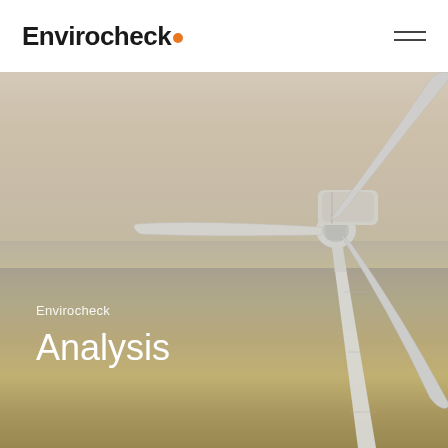Envirocheck.
[Figure (photo): Aerial photograph of a large offshore wind turbine with three blades visible against a hazy sky, with tidal mudflats and water visible below. Text overlay reads 'Envirocheck' and 'Analysis'.]
Envirocheck
Analysis